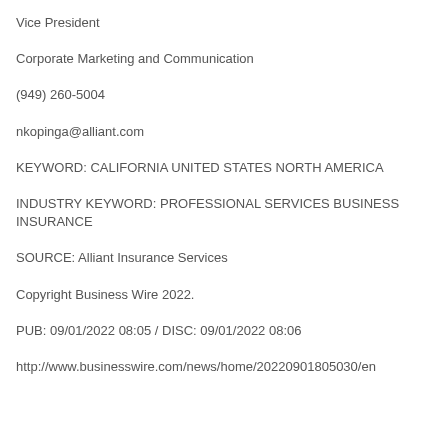Vice President
Corporate Marketing and Communication
(949) 260-5004
nkopinga@alliant.com
KEYWORD: CALIFORNIA UNITED STATES NORTH AMERICA
INDUSTRY KEYWORD: PROFESSIONAL SERVICES BUSINESS INSURANCE
SOURCE: Alliant Insurance Services
Copyright Business Wire 2022.
PUB: 09/01/2022 08:05 / DISC: 09/01/2022 08:06
http://www.businesswire.com/news/home/20220901805030/en...